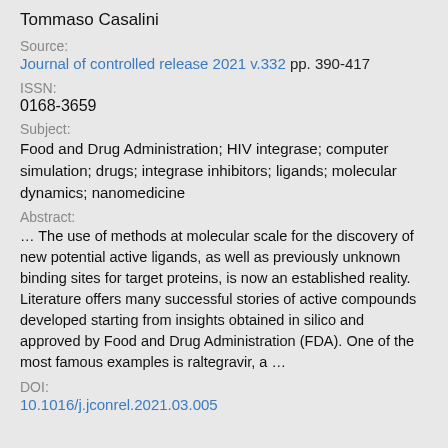Tommaso Casalini
Source:
Journal of controlled release 2021 v.332 pp. 390-417
ISSN:
0168-3659
Subject:
Food and Drug Administration; HIV integrase; computer simulation; drugs; integrase inhibitors; ligands; molecular dynamics; nanomedicine
Abstract:
… The use of methods at molecular scale for the discovery of new potential active ligands, as well as previously unknown binding sites for target proteins, is now an established reality. Literature offers many successful stories of active compounds developed starting from insights obtained in silico and approved by Food and Drug Administration (FDA). One of the most famous examples is raltegravir, a …
DOI:
10.1016/j.jconrel.2021.03.005